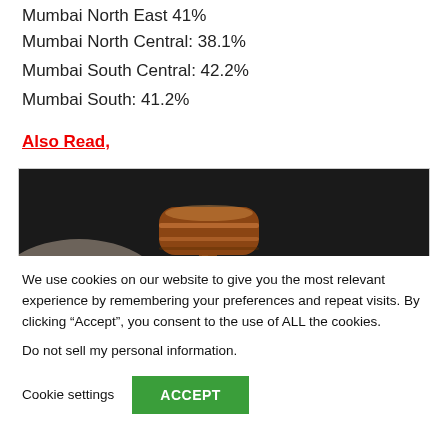Mumbai North East 41%
Mumbai North Central: 38.1%
Mumbai South Central: 42.2%
Mumbai South: 41.2%
Also Read,
[Figure (photo): Close-up photo of a wooden gavel on a dark background]
We use cookies on our website to give you the most relevant experience by remembering your preferences and repeat visits. By clicking “Accept”, you consent to the use of ALL the cookies.
Do not sell my personal information.